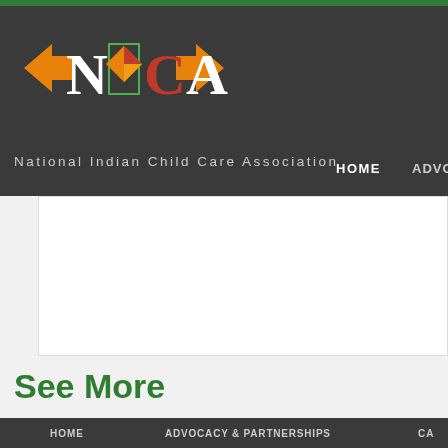[Figure (logo): NICCA logo - National Indian Child Care Association with decorative arrow and geometric Native American design elements in orange, red, green and yellow]
National Indian Child Care Association   HOME   ADVOCA
See More
HOME   ADVOCACY & PARTNERSHIPS   CA